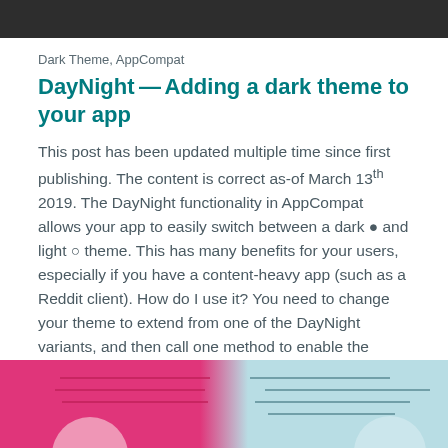[Figure (photo): Dark header image at top of page]
Dark Theme, AppCompat
DayNight—Adding a dark theme to your app
This post has been updated multiple time since first publishing. The content is correct as-of March 13th 2019. The DayNight functionality in AppCompat allows your app to easily switch between a dark • and light ○ theme. This has many benefits for your users, especially if you have a content-heavy app (such as a Reddit client). How do I use it? You need to change your theme to extend from one of the DayNight variants, and then call one method to enable the feature. Here's an example theme decla
25 Feb 2016  ·  4 min read
[Figure (illustration): Split illustration showing pink/magenta dark theme on left and light blue theme on right with abstract shapes]